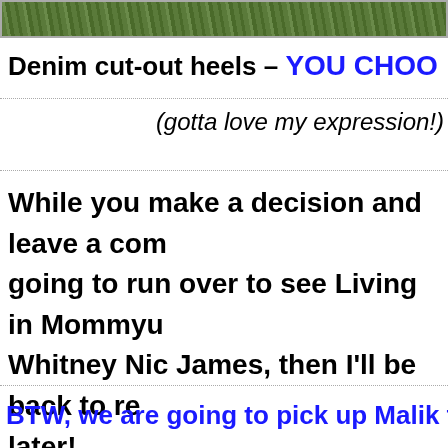[Figure (photo): Grass/lawn photograph strip at the top of the page]
Denim cut-out heels – YOU CHOO
(gotta love my expression!)
While you make a decision and leave a com going to run over to see Living in Mommyu Whitney Nic James, then I'll be back to re later!
BTW, we are going to pick up Malik fro